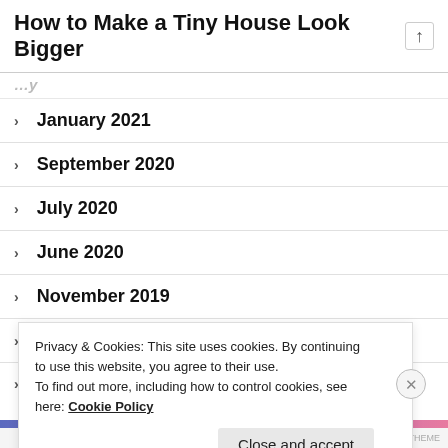How to Make a Tiny House Look Bigger
January 2021
September 2020
July 2020
June 2020
November 2019
May 2019
April 2019
Privacy & Cookies: This site uses cookies. By continuing to use this website, you agree to their use.
To find out more, including how to control cookies, see here: Cookie Policy
Close and accept